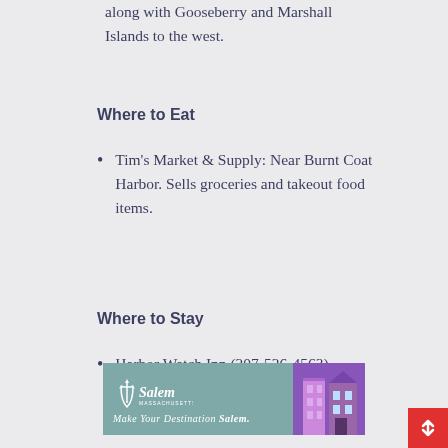along with Gooseberry and Marshall Islands to the west.
Where to Eat
Tim's Market & Supply: Near Burnt Coat Harbor. Sells groceries and takeout food items.
Where to Stay
Harbor Watch Inn (207-526-4563)
[Figure (advertisement): Salem advertisement banner: teal background with Salem logo (anchor/trident design), text 'Make Your Destination Salem.' in italic script, and a photo of a colorful building on the right side.]